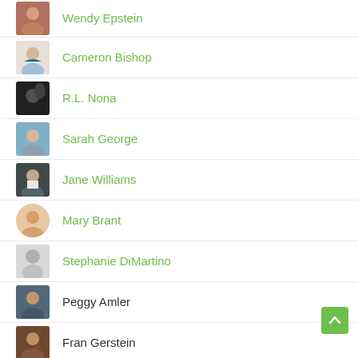Wendy Epstein
Cameron Bishop
R.L. Nona
Sarah George
Jane Williams
Mary Brant
Stephanie DiMartino
Peggy Amler
Fran Gerstein